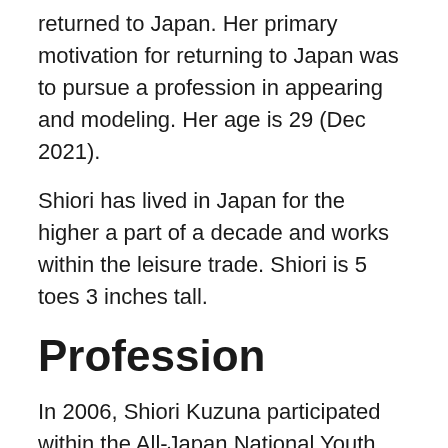returned to Japan. Her primary motivation for returning to Japan was to pursue a profession in appearing and modeling. Her age is 29 (Dec 2021).
Shiori has lived in Japan for the higher a part of a decade and works within the leisure trade. Shiori is 5 toes 3 inches tall.
Profession
In 2006, Shiori Kuzuna participated within the All-Japan National Youth Beauty Contest and received the championship. Following her success in magnificence pageants, she began her appearing profession in 2007, starring within the TV present Sannian Group Do Who Pak Teacher 2. Her debut at age All...